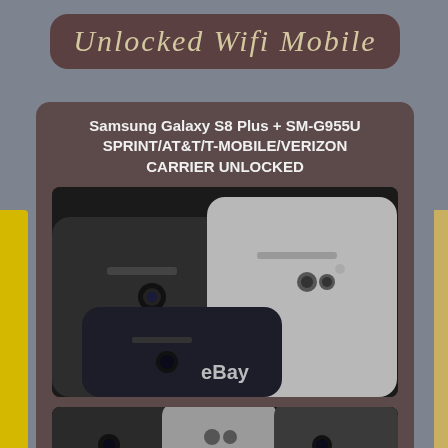Unlocked Wifi Mobile
Samsung Galaxy S8 Plus + SM-G955U SPRINT/AT&T/T-MOBILE/VERIZON CARRIER UNLOCKED
[Figure (photo): Photo of multiple Samsung Galaxy S8 Plus smartphones showing back panels, dark and light colors, with eBay watermark]
[Figure (photo): Partial photo of Samsung Galaxy S8 Plus smartphones showing back panels, cropped at bottom]